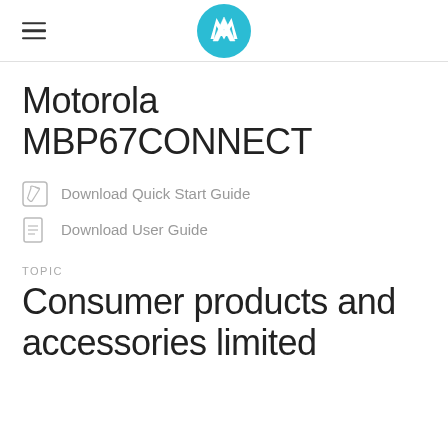Motorola logo header with hamburger menu
Motorola MBP67CONNECT
Download Quick Start Guide
Download User Guide
TOPIC
Consumer products and accessories limited